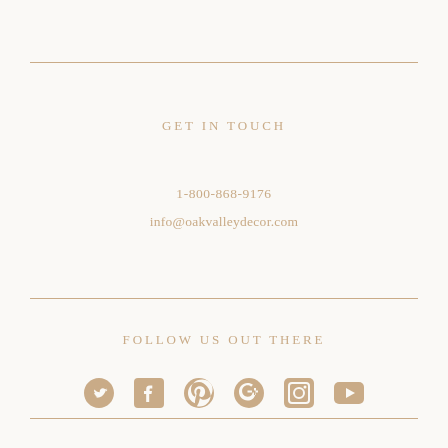GET IN TOUCH
1-800-868-9176
info@oakvalleydecor.com
FOLLOW US OUT THERE
[Figure (illustration): Six social media icons: Twitter, Facebook, Pinterest, Google+, Instagram, YouTube in tan/brown color]